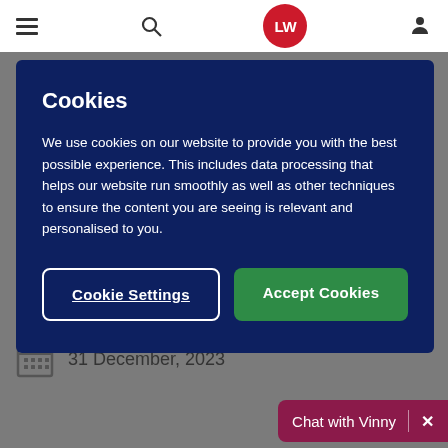[Figure (screenshot): Website navigation bar with hamburger menu, search icon, LW logo (red circle), and user profile icon on white background]
Cookies
We use cookies on our website to provide you with the best possible experience. This includes data processing that helps our website run smoothly as well as other techniques to ensure the content you are seeing is relevant and personalised to you.
Cookie Settings
Accept Cookies
31 December, 2023
Chat with Vinny